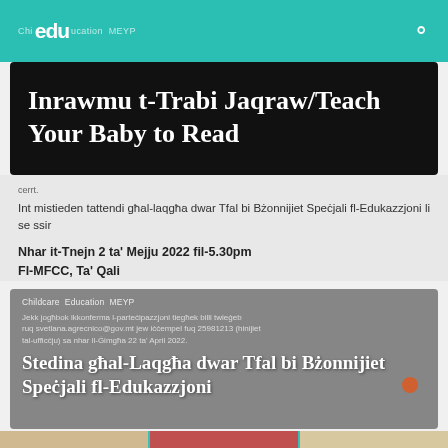Childcare Education MEYP edu
Inrawmu t-Trabi Jaqraw/Teach Your Baby to Read
cerrt.
Int mistieden tattendi għal-laqgħa dwar Tfal bi Bżonnijiet Speċjali fl-Edukazzjoni li se ssir
Nhar it-Tnejn 2 ta' Mejju 2022 fil-5.30pm Fl-MFCC, Ta' Qali
Jekk jogħbok ikkonferma l-parteċipazzjoni tiegħek billi twieġeb ruq svetlana.agrecnico@gov.mt jew iċċempel fuq 25981213 (hinijiet tal-ufficċju) sa nhar il-Ġimgħa 22 ta' April 2022.
Stedina għal-Laqgħa dwar Tfal bi Bżonnijiet Speċjali fl-Edukazzjoni